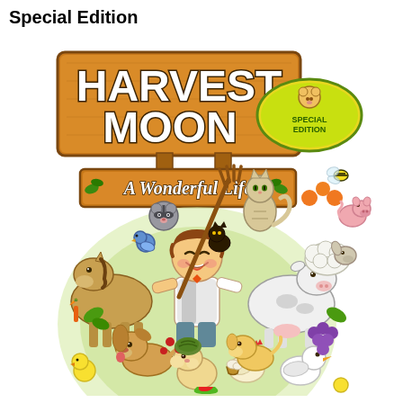Special Edition
[Figure (illustration): Harvest Moon: A Wonderful Life Special Edition game cover art. Features the Harvest Moon logo in large wooden-style brown and white lettering with a 'Special Edition' badge in yellow/green on the right. Below the logo is a subtitle 'A Wonderful Life' on a wooden sign. The lower portion shows anime-style cartoon artwork of a young male farmer character surrounded by various farm animals including a horse, dog, cat, cow, duck, sheep, and other small animals and birds, along with vegetables and fruits forming a wreath-like circle around them.]